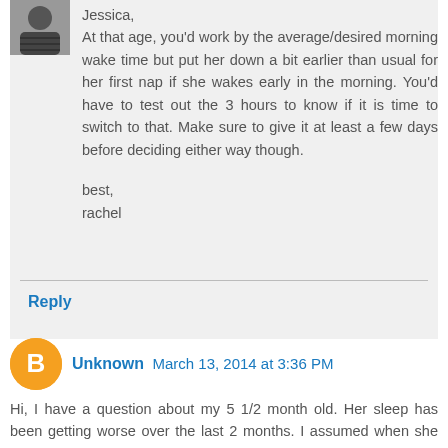Jessica,
At that age, you'd work by the average/desired morning wake time but put her down a bit earlier than usual for her first nap if she wakes early in the morning. You'd have to test out the 3 hours to know if it is time to switch to that. Make sure to give it at least a few days before deciding either way though.

best,
rachel
Reply
Unknown March 13, 2014 at 3:36 PM
Hi, I have a question about my 5 1/2 month old. Her sleep has been getting worse over the last 2 months. I assumed when she hit the 4 month sleep regression things would slowly get better not worse. She is exhausted all the time and won't sleep longer than 30-40 minutes for naps and